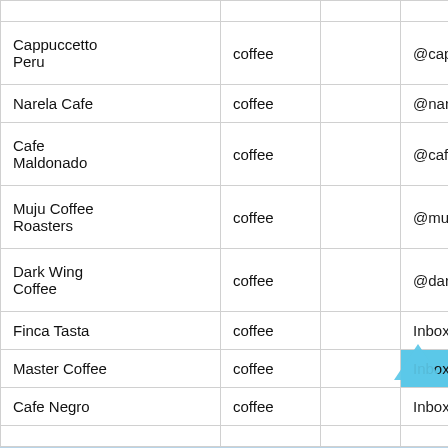| Name | Category |  | Contact |
| --- | --- | --- | --- |
| Cappuccetto Peru | coffee |  | @cappu |
| Narela Cafe | coffee |  | @narel |
| Cafe Maldonado | coffee |  | @cafen |
| Muju Coffee Roasters | coffee |  | @muju |
| Dark Wing Coffee | coffee |  | @darkw |
| Finca Tasta | coffee |  | Inbox o |
| Master Coffee | coffee |  | Inbox o |
| Cafe Negro | coffee |  | Inbox o |